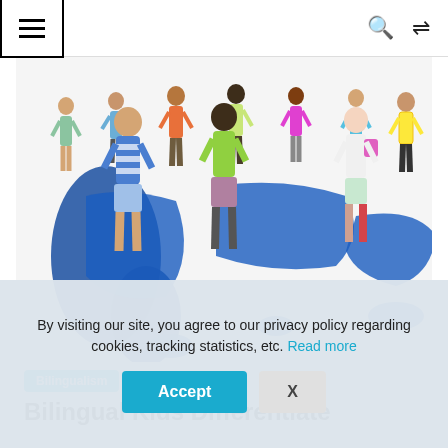≡  🔍  ⇌
[Figure (photo): Group of diverse children of various ages standing on a blue world map against a white background, viewed from slightly above. Children wear colorful clothing.]
Bilingualism
Bilingual Kids Differentiate
By visiting our site, you agree to our privacy policy regarding cookies, tracking statistics, etc. Read more
Accept
X